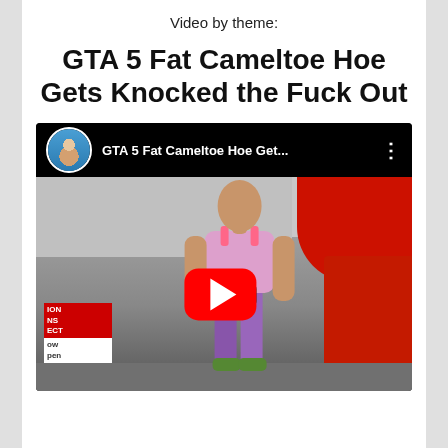Video by theme:
GTA 5 Fat Cameltoe Hoe Gets Knocked the Fuck Out
[Figure (screenshot): YouTube video thumbnail showing a GTA 5 female character in a purple outfit standing on a sidewalk. The YouTube player interface shows the video title 'GTA 5 Fat Cameltoe Hoe Get...' with a channel avatar and three-dot menu. A red YouTube play button is overlaid in the center of the video.]